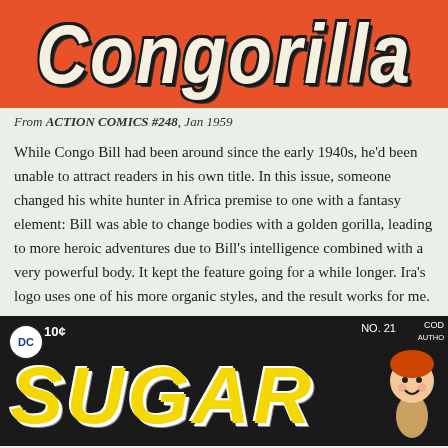[Figure (illustration): Congorilla comic title logo on orange-red background with large white italic lettered text 'Congorilla' with black outline]
From ACTION COMICS #248, Jan 1959
While Congo Bill had been around since the early 1940s, he'd been unable to attract readers in his own title. In this issue, someone changed his white hunter in Africa premise to one with a fantasy element: Bill was able to change bodies with a golden gorilla, leading to more heroic adventures due to Bill's intelligence combined with a very powerful body. It kept the feature going for a while longer. Ira's logo uses one of his more organic styles, and the result works for me.
[Figure (illustration): Sugar & Spike DC comic cover No. 21, black background with large yellow lettered 'SUGAR' text, DC logo badge, 10 cent price, redheaded boy character visible on right side]